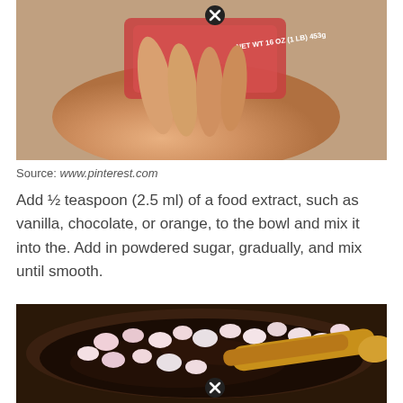[Figure (photo): A hand holding a package of marshmallows, showing the label with NET WT 16 OZ (1 LB) 453g]
Source: www.pinterest.com
Add ½ teaspoon (2.5 ml) of a food extract, such as vanilla, chocolate, or orange, to the bowl and mix it into the. Add in powdered sugar, gradually, and mix until smooth.
[Figure (photo): A bowl of chocolate mixture with mini marshmallows being stirred with a wooden spoon]